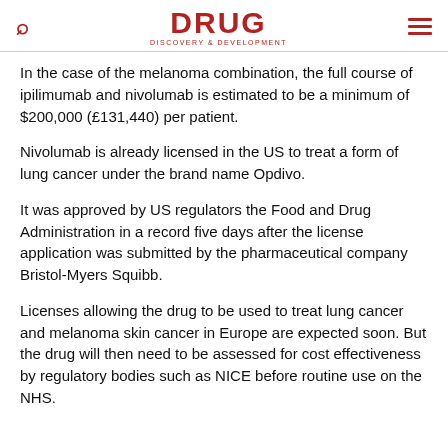DRUG DISCOVERY & DEVELOPMENT
In the case of the melanoma combination, the full course of ipilimumab and nivolumab is estimated to be a minimum of $200,000 (£131,440) per patient.
Nivolumab is already licensed in the US to treat a form of lung cancer under the brand name Opdivo.
It was approved by US regulators the Food and Drug Administration in a record five days after the license application was submitted by the pharmaceutical company Bristol-Myers Squibb.
Licenses allowing the drug to be used to treat lung cancer and melanoma skin cancer in Europe are expected soon. But the drug will then need to be assessed for cost effectiveness by regulatory bodies such as NICE before routine use on the NHS.